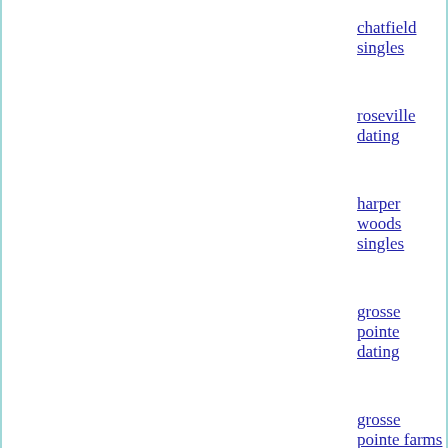chatfield singles
roseville dating
harper woods singles
grosse pointe dating
grosse pointe farms singles
grosse pointe shores dating
grosse pointe woods singles
harrow dating
catawba island singles
middle bass dating
port clinton singles
saint clair shores dating
attica singles